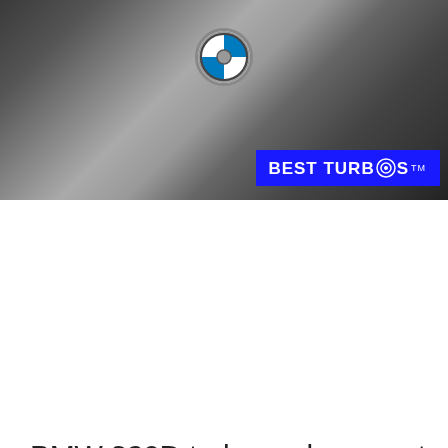[Figure (photo): BMW engine bay photo showing the engine with BMW roundel badge and a blue 'BEST TURBOS' logo overlay in the bottom right corner]
BMW 320D turbo replacement Birmingham
[Figure (photo): Close-up photo of a turbocharger component showing the turbine wheel and housing, bronze/brown metallic tones]